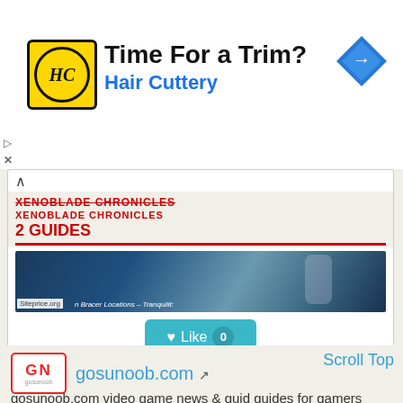[Figure (advertisement): Hair Cuttery ad with yellow HC logo, title 'Time For a Trim?' and blue subtitle 'Hair Cuttery', navigation arrow icon top right]
XENOBLADE CHRONICLES 2 GUIDES
[Figure (screenshot): Game screenshot from Xenoblade Chronicles 2 with Siteprice.org watermark and text 'n Bracer Locations - Tranquilit:']
[Figure (infographic): Like button showing heart icon, Like text, and count of 0]
[Figure (logo): GosuNoob.com logo - red GN letters in white box with red border]
gosunoob.com
Scroll Top
gosunoob.com video game news & guid guides for gamers
home of visual video game guides and news for both gosu and noob gamers . constant info about rdr2, zelda, destiny, assassin's creed, gta and other games.